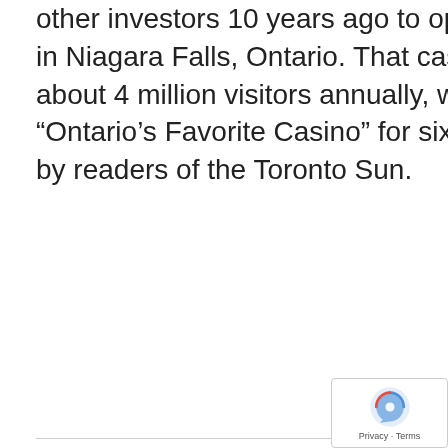other investors 10 years ago to open his first casino in Niagara Falls, Ontario. That casino, which draws about 4 million visitors annually, was named “Ontario’s Favorite Casino” for six consecutive years by readers of the Toronto Sun.
Back To All Posts
RECENT POSTS
RISA Management Corporation Signs Lease at Rotterdam Corporate Park
Galesi Group marks half-century in Capital Region
Galesi Group a major presence 50 years after Capital Region debut
Galesi TBT – 2016